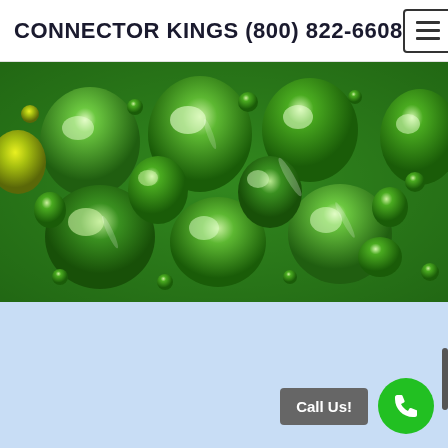CONNECTOR KINGS (800) 822-6608
[Figure (photo): Close-up photograph of green water droplets on a surface, various sizes of rounded green drops with light reflections]
[Figure (other): Light blue background section with a call us button and green phone icon button at bottom right, and a scrollbar on the right edge]